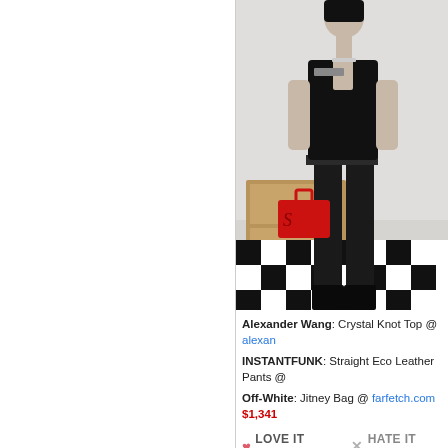[Figure (photo): Fashion photo of a woman wearing a black crop top and black leather straight pants, holding a red Off-White Jitney Bag, standing on a black and white checkered floor with a wooden cabinet in the background.]
Alexander Wang: Crystal Knot Top @ alexan...
INSTANTFUNK: Straight Eco Leather Pants @...
Off-White: Jitney Bag @ farfetch.com $1,341...
♥ LOVE IT (+19)   ✕ HATE IT (-11)
SHOP ARE ALL SHEIN...